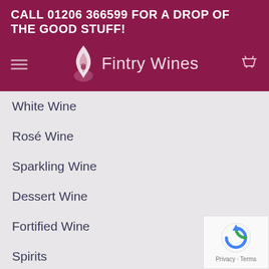CALL 01206 366599 FOR A DROP OF THE GOOD STUFF!
[Figure (logo): Fintry Wines logo with flame icon and text on dark red/maroon background, with hamburger menu and basket icons]
White Wine
Rosé Wine
Sparkling Wine
Dessert Wine
Fortified Wine
Spirits
CONTACT DETAILS
Fintry Wines